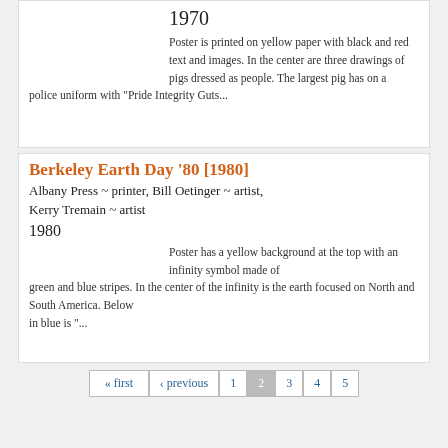1970
Poster is printed on yellow paper with black and red text and images. In the center are three drawings of pigs dressed as people. The largest pig has on a police uniform with "Pride Integrity Guts...
Berkeley Earth Day '80 [1980]
Albany Press ~ printer, Bill Oetinger ~ artist, Kerry Tremain ~ artist
1980
Poster has a yellow background at the top with an infinity symbol made of green and blue stripes. In the center of the infinity is the earth focused on North and South America. Below in blue is "...
« first
‹ previous
1
2
3
4
5